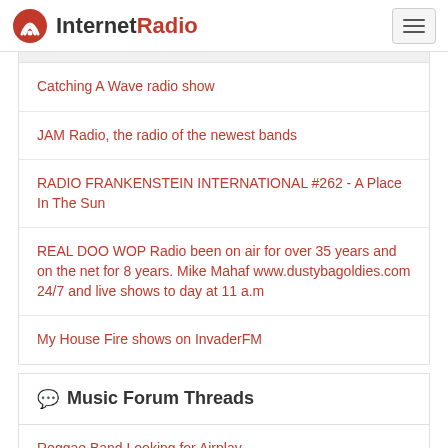InternetRadio
Catching A Wave radio show
JAM Radio, the radio of the newest bands
RADIO FRANKENSTEIN INTERNATIONAL #262 - A Place In The Sun
REAL DOO WOP Radio been on air for over 35 years and on the net for 8 years. Mike Mahaf www.dustybagoldies.com 24/7 and live shows to day at 11 a.m
My House Fire shows on InvaderFM
Music Forum Threads
Reggae Band Looking for Airplay
EIGHT - Without You